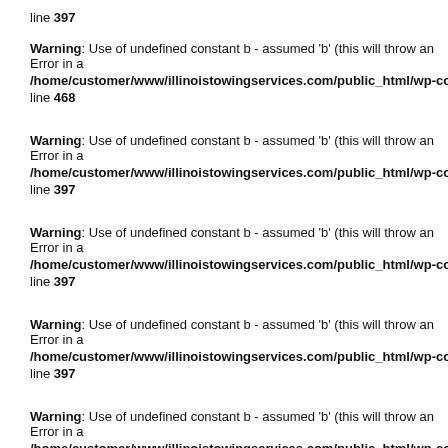line 397
Warning: Use of undefined constant b - assumed 'b' (this will throw an Error in a future version of PHP) in /home/customer/www/illinoistowingservices.com/public_html/wp-content/ line 468
Warning: Use of undefined constant b - assumed 'b' (this will throw an Error in a future version of PHP) in /home/customer/www/illinoistowingservices.com/public_html/wp-content/ line 397
Warning: Use of undefined constant b - assumed 'b' (this will throw an Error in a future version of PHP) in /home/customer/www/illinoistowingservices.com/public_html/wp-content/ line 397
Warning: Use of undefined constant b - assumed 'b' (this will throw an Error in a future version of PHP) in /home/customer/www/illinoistowingservices.com/public_html/wp-content/ line 397
Warning: Use of undefined constant b - assumed 'b' (this will throw an Error in a future version of PHP) in /home/customer/www/illinoistowingservices.com/public_html/wp-content/ line 397
Warning: Use of undefined constant b - assumed 'b' (this will throw an Error in a futu...